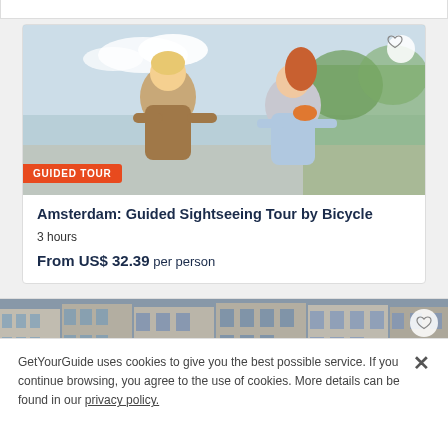[Figure (photo): Two women riding bicycles outdoors, smiling, with trees in background]
GUIDED TOUR
Amsterdam: Guided Sightseeing Tour by Bicycle
3 hours
From US$ 32.39 per person
[Figure (photo): Amsterdam canal with colorful houseboats moored along the waterfront, reflections in water, traditional Dutch buildings in background]
GetYourGuide uses cookies to give you the best possible service. If you continue browsing, you agree to the use of cookies. More details can be found in our privacy policy.